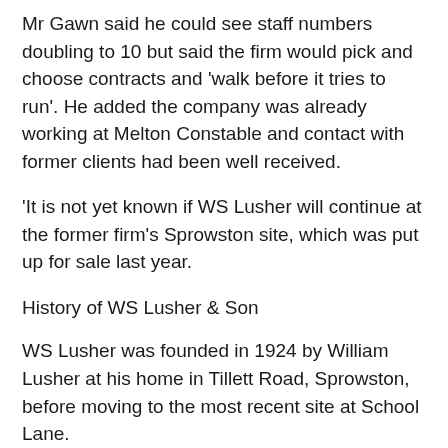Mr Gawn said he could see staff numbers doubling to 10 but said the firm would pick and choose contracts and 'walk before it tries to run'. He added the company was already working at Melton Constable and contact with former clients had been well received.
'It is not yet known if WS Lusher will continue at the former firm's Sprowston site, which was put up for sale last year.
History of WS Lusher & Son
WS Lusher was founded in 1924 by William Lusher at his home in Tillett Road, Sprowston, before moving to the most recent site at School Lane.
In 1978 it was awarded the Royal Warrant of Appointment for annual maintenance at Sandringham House after building its reputation for restoration work